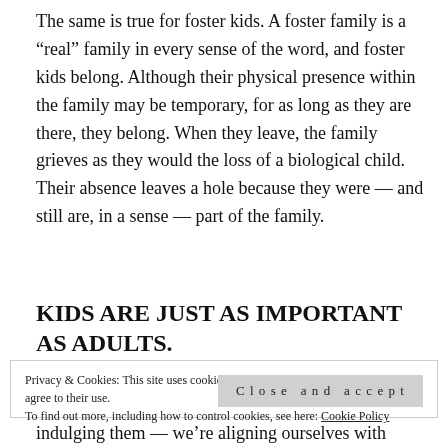The same is true for foster kids. A foster family is a “real” family in every sense of the word, and foster kids belong. Although their physical presence within the family may be temporary, for as long as they are there, they belong. When they leave, the family grieves as they would the loss of a biological child. Their absence leaves a hole because they were — and still are, in a sense — part of the family.
KIDS ARE JUST AS IMPORTANT AS ADULTS.
Privacy & Cookies: This site uses cookies. By continuing to use this website, you agree to their use.
To find out more, including how to control cookies, see here: Cookie Policy
Close and accept
indulging them — we’re aligning ourselves with